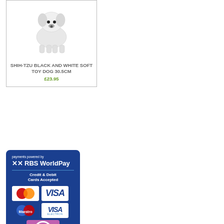[Figure (photo): White Shih-Tzu soft toy dog figurine on white background]
SHIH-TZU BLACK AND WHITE SOFT TOY DOG 30.5CM
£23.95
[Figure (infographic): RBS WorldPay payment banner showing accepted credit and debit cards: MasterCard, VISA, Maestro, VISA Electron, Solo, and PayPal]